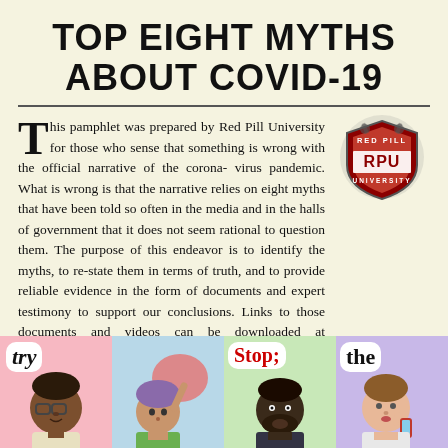TOP EIGHT MYTHS ABOUT COVID-19
This pamphlet was prepared by Red Pill University for those who sense that something is wrong with the official narrative of the coronavirus pandemic. What is wrong is that the narrative relies on eight myths that have been told so often in the media and in the halls of government that it does not seem rational to question them. The purpose of this endeavor is to identify the myths, to re-state them in terms of truth, and to provide reliable evidence in the form of documents and expert testimony to support our conclusions. Links to those documents and videos can be downloaded at www.redpilluniversity.org/covid-myths.
[Figure (logo): Red Pill University shield logo with RPU letters in red and grey]
[Figure (illustration): Four illustrated panels showing cartoon people with speech bubbles containing the words: try, (person thinking), Stop:, the]